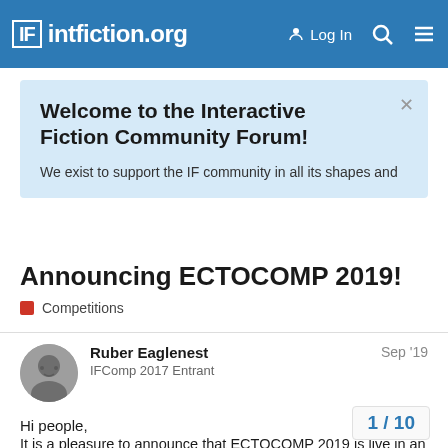IF intfiction.org — Log In
Welcome to the Interactive Fiction Community Forum!
We exist to support the IF community in all its shapes and
Announcing ECTOCOMP 2019!
Competitions
Ruber Eaglenest
IFComp 2017 Entrant
Sep '19
Hi people,
It is a pleasure to announce that ECTOCOMP 2019 is live in an alpha state. Right now we don't have even — itchio page is probably ugly and with some — address. For not be it here, if the interest …
1 / 10